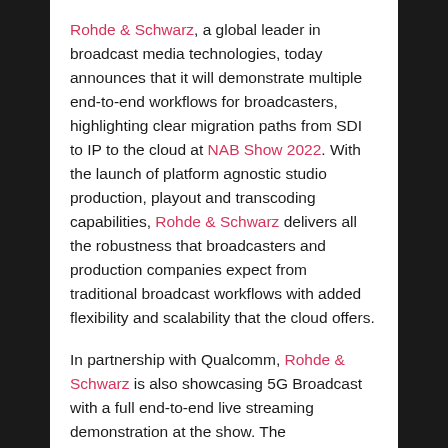Rohde & Schwarz, a global leader in broadcast media technologies, today announces that it will demonstrate multiple end-to-end workflows for broadcasters, highlighting clear migration paths from SDI to IP to the cloud at NAB Show 2022. With the launch of platform agnostic studio production, playout and transcoding capabilities, Rohde & Schwarz delivers all the robustness that broadcasters and production companies expect from traditional broadcast workflows with added flexibility and scalability that the cloud offers.
In partnership with Qualcomm, Rohde & Schwarz is also showcasing 5G Broadcast with a full end-to-end live streaming demonstration at the show. The demonstration will deliver content to smartphone devices and highlight